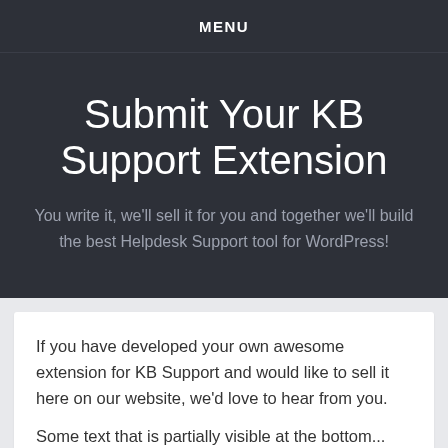MENU
Submit Your KB Support Extension
You write it, we'll sell it for you and together we'll build the best Helpdesk Support tool for WordPress!
If you have developed your own awesome extension for KB Support and would like to sell it here on our website, we'd love to hear from you.